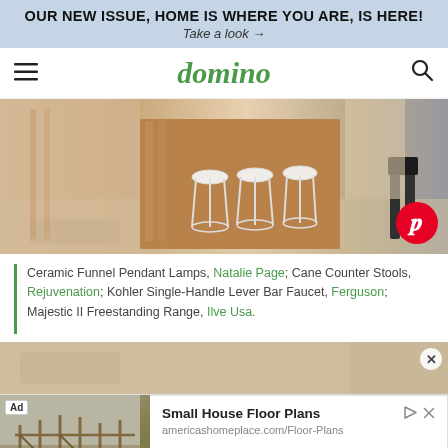OUR NEW ISSUE, HOME IS WHERE YOU ARE, IS HERE! Take a look →
domino
[Figure (photo): Interior kitchen scene with white cane counter stools at a wooden island, light hardwood floors, a Pinterest save badge in the lower right corner]
Ceramic Funnel Pendant Lamps, Natalie Page; Cane Counter Stools, Rejuvenation; Kohler Single-Handle Lever Bar Faucet, Ferguson; Majestic II Freestanding Range, Ilve Usa.
[Figure (photo): Partial view of a room interior, cropped, with a close button in the upper right]
[Figure (photo): Advertisement image showing a house under construction, wooden framing]
Small House Floor Plans
americashomeplace.com/Floor-Plans
Visit Site ›